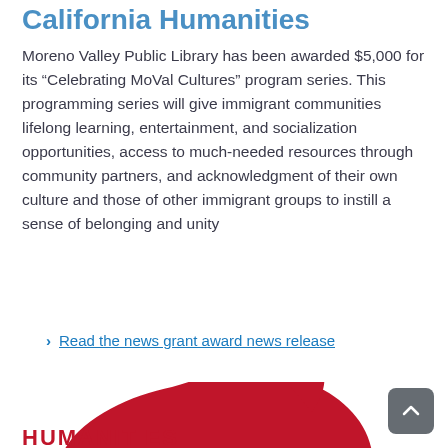California Humanities
Moreno Valley Public Library has been awarded $5,000 for its “Celebrating MoVal Cultures” program series. This programming series will give immigrant communities lifelong learning, entertainment, and socialization opportunities, access to much-needed resources through community partners, and acknowledgment of their own culture and those of other immigrant groups to instill a sense of belonging and unity
Read the news grant award news release
[Figure (logo): California Humanities logo — red stylized numeral 6 or flame shape with text CAL HUMANITIES in white]